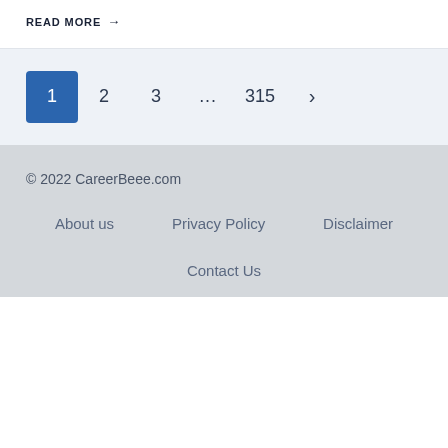READ MORE →
1  2  3  ...  315  >
© 2022 CareerBeee.com
About us   Privacy Policy   Disclaimer
Contact Us